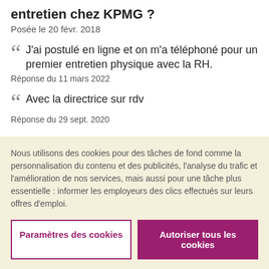entretien chez KPMG ?
Posée le 20 févr. 2018
J'ai postulé en ligne et on m'a téléphoné pour un premier entretien physique avec la RH.
Réponse du 11 mars 2022
Avec la directrice sur rdv
Réponse du 29 sept. 2020
Comment décririez-vous l'ambiance de travail chez KPMG ?
Nous utilisons des cookies pour des tâches de fond comme la personnalisation du contenu et des publicités, l'analyse du trafic et l'amélioration de nos services, mais aussi pour une tâche plus essentielle : informer les employeurs des clics effectués sur leurs offres d'emploi.
Paramètres des cookies
Autoriser tous les cookies